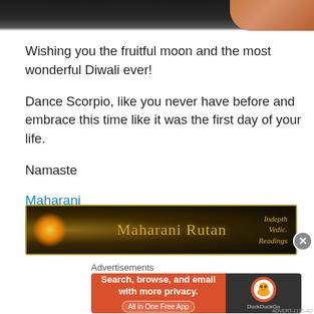[Figure (photo): Top portion of an image, dark background with a reddish/skin-toned element in upper right corner]
Wishing you the fruitful moon and the most wonderful Diwali ever!
Dance Scorpio, like you never have before and embrace this time like it was the first day of your life.
Namaste
Maharani
[Figure (illustration): Banner ad for Maharani Rutan - dark background with golden text 'Maharani Rutan' and tagline 'Indepth Vedic Readings', glowing candle/diya on left]
Advertisements
[Figure (screenshot): DuckDuckGo advertisement banner: orange left side with text 'Search, browse, and email with more privacy. All in One Free App', dark right side with DuckDuckGo logo]